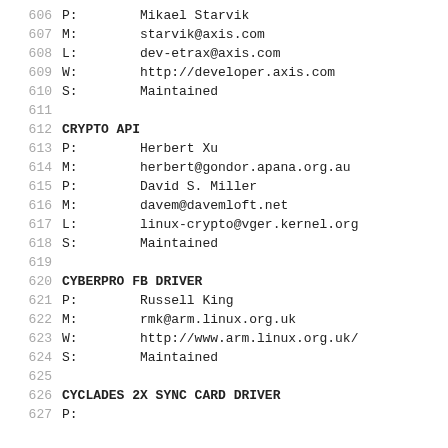606  P:        Mikael Starvik
607  M:        starvik@axis.com
608  L:        dev-etrax@axis.com
609  W:        http://developer.axis.com
610  S:        Maintained
611
612  CRYPTO API
613  P:        Herbert Xu
614  M:        herbert@gondor.apana.org.au
615  P:        David S. Miller
616  M:        davem@davemloft.net
617  L:        linux-crypto@vger.kernel.org
618  S:        Maintained
619
620  CYBERPRO FB DRIVER
621  P:        Russell King
622  M:        rmk@arm.linux.org.uk
623  W:        http://www.arm.linux.org.uk/
624  S:        Maintained
625
626  CYCLADES 2X SYNC CARD DRIVER
627  P:        ...